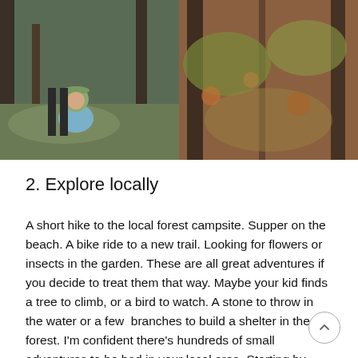[Figure (photo): Two photos side by side: left shows a child in a green knit hat crouching on mossy ground in a forest, right shows a close-up of mossy forest floor with trees]
2. Explore locally
A short hike to the local forest campsite. Supper on the beach. A bike ride to a new trail. Looking for flowers or insects in the garden. These are all great adventures if you decide to treat them that way. Maybe your kid finds a tree to climb, or a bird to watch. A stone to throw in the water or a few branches to build a shelter in the forest. I'm confident there's hundreds of small adventures to be had in your local area. Starting by exploring locally helps lower the bar, and makes it easy to get in a small adventure in an afternoon.